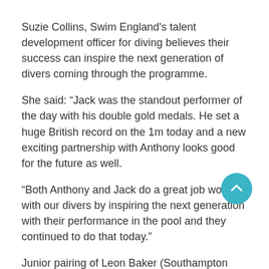Suzie Collins, Swim England's talent development officer for diving believes their success can inspire the next generation of divers coming through the programme.
She said: “Jack was the standout performer of the day with his double gold medals. He set a huge British record on the 1m today and a new exciting partnership with Anthony looks good for the future as well.
“Both Anthony and Jack do a great job working with our divers by inspiring the next generation with their performance in the pool and they continued to do that today.”
Junior pairing of Leon Baker (Southampton Diving academy) and Hugo Thomas (Dive London) finished as runner’s up in the competition with a score of 341.40 and will take that momentum with them into the European Junior Championships in June.
Both Baker and Thomas are members of the Swim